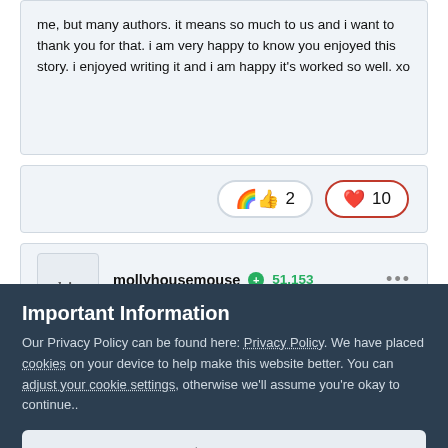me, but many authors. it means so much to us and i want to thank you for that. i am very happy to know you enjoyed this story. i enjoyed writing it and i am happy it's worked so well. xo
[Figure (other): Reaction pills showing: rainbow thumbs-up emoji with count 2, heart emoji with count 10]
mollyhousemouse +51,153 October 4, 2019
Important Information
Our Privacy Policy can be found here: Privacy Policy. We have placed cookies on your device to help make this website better. You can adjust your cookie settings, otherwise we'll assume you're okay to continue..
✓  I accept